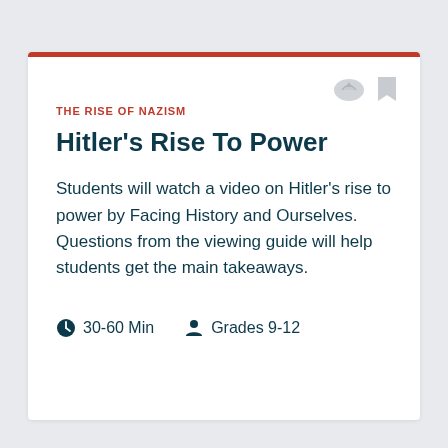THE RISE OF NAZISM
Hitler's Rise To Power
Students will watch a video on Hitler's rise to power by Facing History and Ourselves. Questions from the viewing guide will help students get the main takeaways.
30-60 Min   Grades 9-12